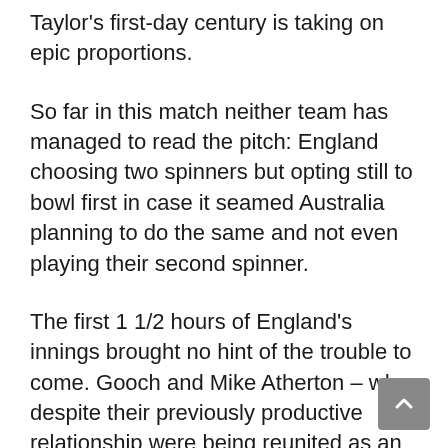Taylor's first-day century is taking on epic proportions.
So far in this match neither team has managed to read the pitch: England choosing two spinners but opting still to bowl first in case it seamed Australia planning to do the same and not even playing their second spinner.
The first 1 1/2 hours of England's innings brought no hint of the trouble to come. Gooch and Mike Atherton – who despite their previously productive relationship were being reunited as an opening pair for the first time since the fourth Test against Pakistan last year – progressed comfortably